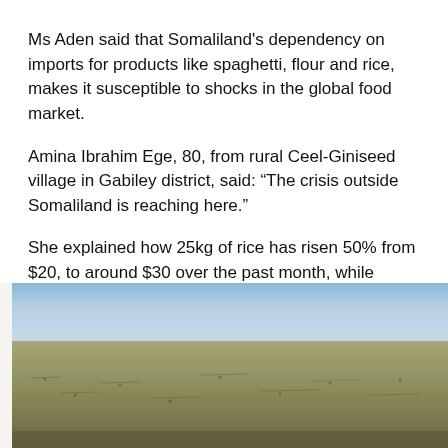Ms Aden said that Somaliland's dependency on imports for products like spaghetti, flour and rice, makes it susceptible to shocks in the global food market.
Amina Ibrahim Ege, 80, from rural Ceel-Giniseed village in Gabiley district, said: “The crisis outside Somaliland is reaching here.”
She explained how 25kg of rice has risen 50% from $20, to around $30 over the past month, while petrol has soared from $12 to around $30 for five litres.
[Figure (photo): Aerial or elevated landscape photo of a dry, arid semi-desert terrain in Somaliland. Barren flat land with sparse low scrub vegetation, dry earth tones of tan and brown, under a pale blue sky with slight haze on the horizon.]